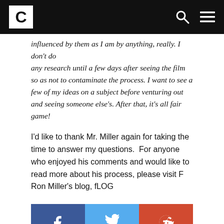Crave (logo) | search | menu
...influenced by them as I am by anything, really. I don't do any research until a few days after seeing the film so as not to contaminate the process. I want to see a few of my ideas on a subject before venturing out and seeing someone else's. After that, it's all fair game!
I'd like to thank Mr. Miller again for taking the time to answer my questions.  For anyone who enjoyed his comments and would like to read more about his process, please visit F Ron Miller's blog, fLOG
[Figure (infographic): Three social share buttons: Facebook (blue), Twitter (light blue), Reddit (orange-red)]
[Figure (photo): Circular avatar with dark background showing a torii gate silhouette icon, and a blue back-to-top button in the bottom right]